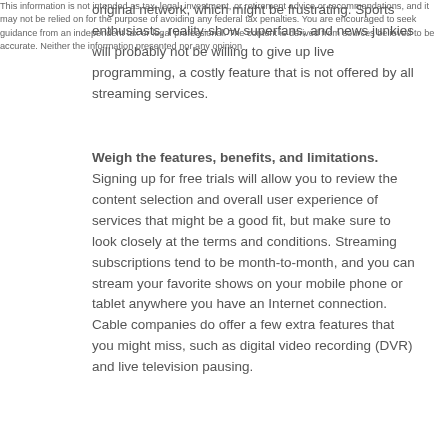original network, which might be frustrating. Sports enthusiasts, reality-show superfans, and news junkies will probably not be willing to give up live programming, a costly feature that is not offered by all streaming services.
Weigh the features, benefits, and limitations. Signing up for free trials will allow you to review the content selection and overall user experience of services that might be a good fit, but make sure to look closely at the terms and conditions. Streaming subscriptions tend to be month-to-month, and you can stream your favorite shows on your mobile phone or tablet anywhere you have an Internet connection. Cable companies do offer a few extra features that you might miss, such as digital video recording (DVR) and live television pausing.
This information is not intended as tax, legal, investment, or retirement advice or recommendations, and it may not be relied on for the purpose of avoiding any federal tax penalties. You are encouraged to seek guidance from an independent tax or legal professional. The content is derived from sources believed to be accurate. Neither the information presented nor any opinion